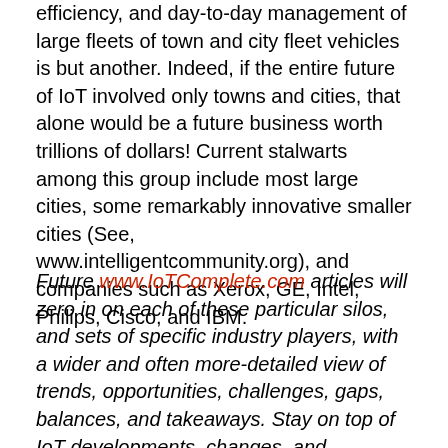efficiency, and day-to-day management of large fleets of town and city fleet vehicles is but another. Indeed, if the entire future of IoT involved only towns and cities, that alone would be a future business worth trillions of dollars! Current stalwarts among this group include most large cities, some remarkably innovative smaller cities (See, www.intelligentcommunity.org), and companies such as Xerox, GE, Intel, Philips, Cisco, and IBM.
Future www.IoTComplete.com articles will zero in on each of these particular silos, and sets of specific industry players, with a wider and often more-detailed view of trends, opportunities, challenges, gaps, balances, and takeaways. Stay on top of IoT developments, changes, and openings, both personally and professionally, by turning to the www.IoTComplete.com website regularly for additional articles, news, information and coverage of